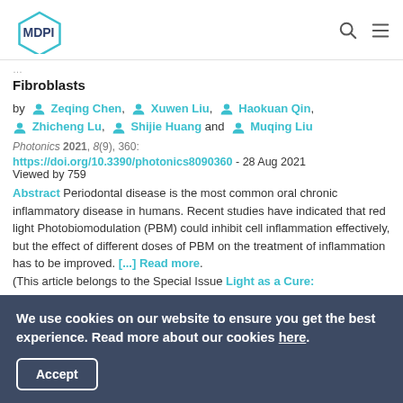MDPI
Fibroblasts
by Zeqing Chen, Xuwen Liu, Haokuan Qin, Zhicheng Lu, Shijie Huang and Muqing Liu
Photonics 2021, 8(9), 360:
https://doi.org/10.3390/photonics8090360 - 28 Aug 2021
Viewed by 759
Abstract Periodontal disease is the most common oral chronic inflammatory disease in humans. Recent studies have indicated that red light Photobiomodulation (PBM) could inhibit cell inflammation effectively, but the effect of different doses of PBM on the treatment of inflammation has to be improved. [...] Read more. (This article belongs to the Special Issue Light as a Cure:
We use cookies on our website to ensure you get the best experience. Read more about our cookies here. Accept